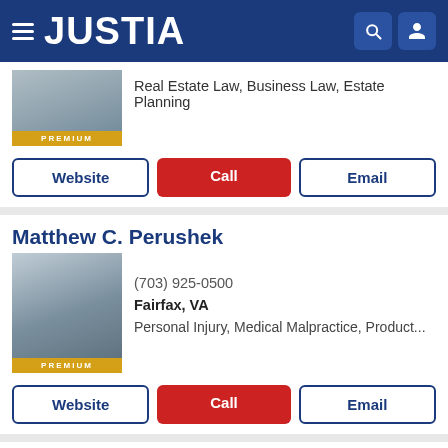JUSTIA
Real Estate Law, Business Law, Estate Planning
PREMIUM
Website | Call | Email
Matthew C. Perushek
(703) 925-0500
Fairfax, VA
Personal Injury, Medical Malpractice, Product...
PREMIUM
Website | Call | Email
Faraji A. Rosenthall
(703) 934-0101